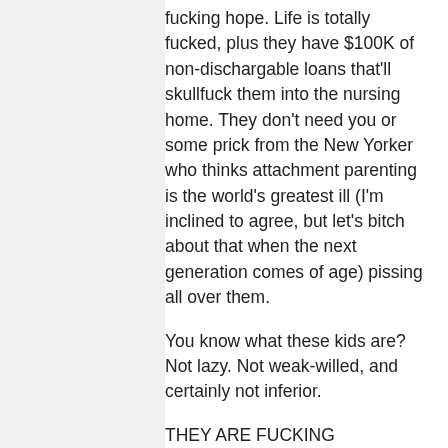fucking hope. Life is totally fucked, plus they have $100K of non-dischargable loans that'll skullfuck them into the nursing home. They don't need you or some prick from the New Yorker who thinks attachment parenting is the world's greatest ill (I'm inclined to agree, but let's bitch about that when the next generation comes of age) pissing all over them.
You know what these kids are? Not lazy. Not weak-willed, and certainly not inferior.
THEY ARE FUCKING TERRIFIED. And they should be. What happens if I or my wife weren't as lucky or were ever-so-slightly dumber? I'll tell you: we're her brother or my sister, both of whom are moving home at the ages of 26/27. They're in gobs of debt due to school, and are slowly coming to terms with the fact that they may never have any sort of a career, and damn well might be living with their doddering parents into the next decade. No relationships. No future. And what? You want their